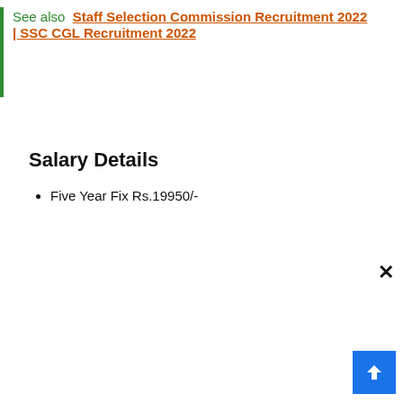See also  Staff Selection Commission Recruitment 2022 | SSC CGL Recruitment 2022
Salary Details
Five Year Fix Rs.19950/-